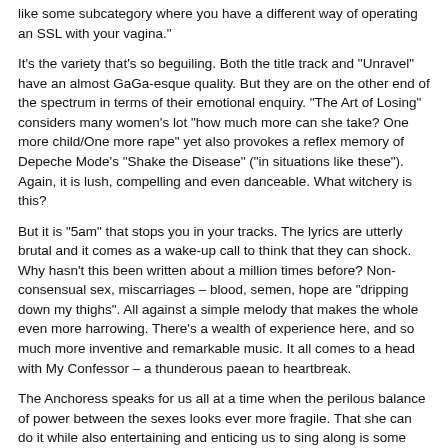like some subcategory where you have a different way of operating an SSL with your vagina."
It's the variety that's so beguiling. Both the title track and "Unravel" have an almost GaGa-esque quality. But they are on the other end of the spectrum in terms of their emotional enquiry. "The Art of Losing" considers many women's lot "how much more can she take? One more child/One more rape" yet also provokes a reflex memory of Depeche Mode's "Shake the Disease" ("in situations like these"). Again, it is lush, compelling and even danceable. What witchery is this?
But it is "5am" that stops you in your tracks. The lyrics are utterly brutal and it comes as a wake-up call to think that they can shock. Why hasn't this been written about a million times before? Non-consensual sex, miscarriages – blood, semen, hope are "dripping down my thighs". All against a simple melody that makes the whole even more harrowing. There's a wealth of experience here, and so much more inventive and remarkable music. It all comes to a head with My Confessor – a thunderous paean to heartbreak.
The Anchoress speaks for us all at a time when the perilous balance of power between the sexes looks ever more fragile. That she can do it while also entertaining and enticing us to sing along is some feat.
More New Music reviews on theartsdesk
Kathryn Reilly's site